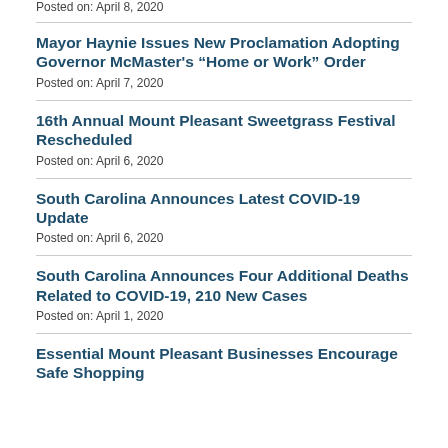Posted on: April 8, 2020
Mayor Haynie Issues New Proclamation Adopting Governor McMaster's “Home or Work” Order
Posted on: April 7, 2020
16th Annual Mount Pleasant Sweetgrass Festival Rescheduled
Posted on: April 6, 2020
South Carolina Announces Latest COVID-19 Update
Posted on: April 6, 2020
South Carolina Announces Four Additional Deaths Related to COVID-19, 210 New Cases
Posted on: April 1, 2020
Essential Mount Pleasant Businesses Encourage Safe Shopping